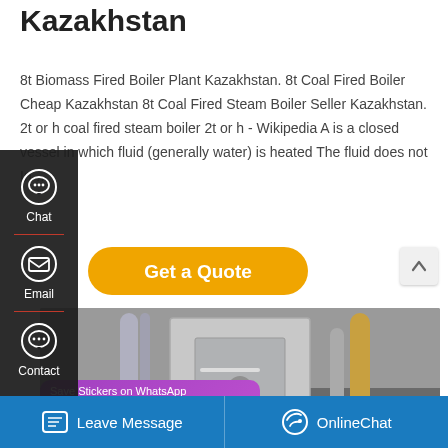Kazakhstan
8t Biomass Fired Boiler Plant Kazakhstan. 8t Coal Fired Boiler Cheap Kazakhstan 8t Coal Fired Steam Boiler Seller Kazakhstan. 2t or h coal fired steam boiler 2t or h - Wikipedia A is a closed vessel in which fluid (generally water) is heated The fluid does not In …
[Figure (screenshot): Get a Quote button (yellow/orange rounded rectangle) and a scroll-up arrow button]
[Figure (photo): Industrial boiler plant equipment with pipes and metal tanks]
[Figure (screenshot): WhatsApp sticker save overlay with phone and emoji icons on purple background]
[Figure (screenshot): Left sidebar UI with Chat, Email, and Contact icons on dark background]
Leave Message   OnlineChat